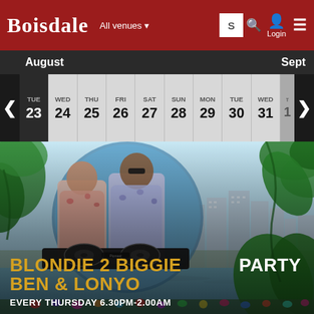BOISDALE — All venues — Login
| TUE | WED | THU | FRI | SAT | SUN | MON | TUE | WED | THU |
| --- | --- | --- | --- | --- | --- | --- | --- | --- | --- |
| 23 | 24 | 25 | 26 | 27 | 28 | 29 | 30 | 31 | 1 |
[Figure (photo): Promotional event image for Blondie 2 Biggie Party with Ben & Lonyo. Two DJs in floral shirts at turntables, tropical foliage border, city skyline background with river. Text overlay: BLONDIE 2 BIGGIE PARTY, BEN & LONYO, EVERY THURSDAY 6.30PM-2.00AM]